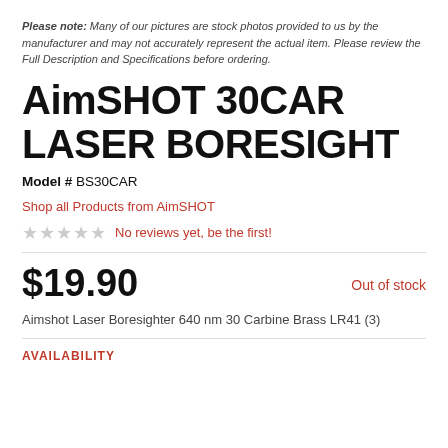Please note: Many of our pictures are stock photos provided to us by the manufacturer and may not accurately represent the actual item. Please review the Full Description and Specifications before ordering.
AimSHOT 30CAR LASER BORESIGHT
Model # BS30CAR
Shop all Products from AimSHOT
★★★★★ No reviews yet, be the first!
$19.90
Out of stock
Aimshot Laser Boresighter 640 nm 30 Carbine Brass LR41 (3)
AVAILABILITY